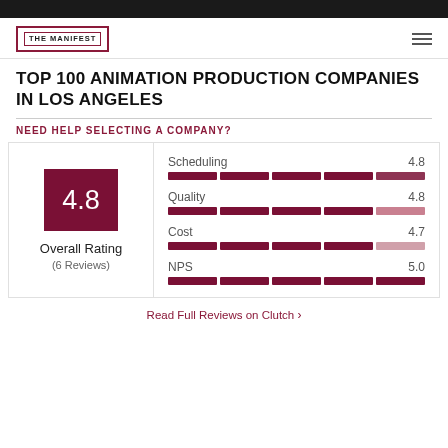THE MANIFEST
TOP 100 ANIMATION PRODUCTION COMPANIES IN LOS ANGELES
NEED HELP SELECTING A COMPANY?
[Figure (infographic): Rating card with overall rating 4.8 (6 Reviews) on left, and four metric bars on right: Scheduling 4.8, Quality 4.8, Cost 4.7, NPS 5.0]
Read Full Reviews on Clutch >